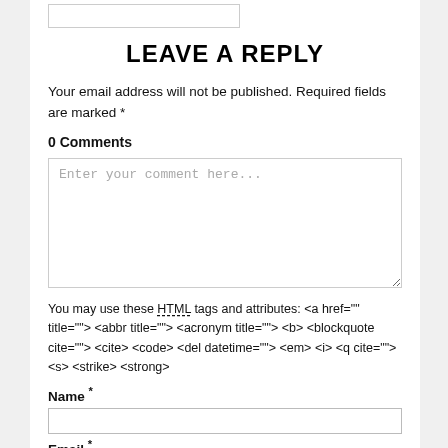[Figure (screenshot): Top portion of a white input box (partially visible at top of page)]
LEAVE A REPLY
Your email address will not be published. Required fields are marked *
0 Comments
[Figure (screenshot): Comment textarea with placeholder text 'Enter your comment here...']
You may use these HTML tags and attributes: <a href="" title=""> <abbr title=""> <acronym title=""> <b> <blockquote cite=""> <cite> <code> <del datetime=""> <em> <i> <q cite=""> <s> <strike> <strong>
Name *
[Figure (screenshot): Name input field (empty, white, bordered)]
Email *